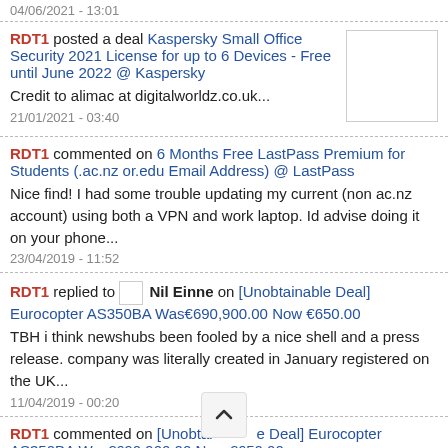04/06/2021 - 13:01
RDT1 posted a deal Kaspersky Small Office Security 2021 License for up to 6 Devices - Free until June 2022 @ Kaspersky
Credit to alimac at digitalworldz.co.uk...
21/01/2021 - 03:40
RDT1 commented on 6 Months Free LastPass Premium for Students (.ac.nz or.edu Email Address) @ LastPass
Nice find! I had some trouble updating my current (non ac.nz account) using both a VPN and work laptop. Id advise doing it on your phone...
23/04/2019 - 11:52
RDT1 replied to Nil Einne on [Unobtainable Deal] Eurocopter AS350BA Was€690,900.00 Now €650.00
TBH i think newshubs been fooled by a nice shell and a press release. company was literally created in January registered on the UK...
11/04/2019 - 00:20
RDT1 commented on [Unobtainable Deal] Eurocopter AS350BA Was€690,900.00 Now €650.00